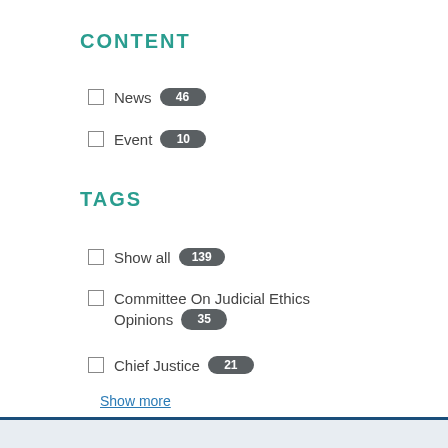CONTENT
News 46
Event 10
TAGS
Show all 139
Committee On Judicial Ethics Opinions 35
Chief Justice 21
Show more